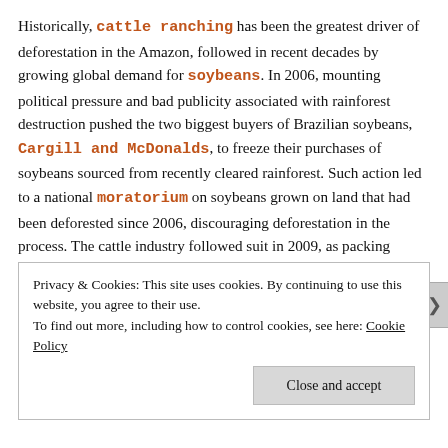Historically, cattle ranching has been the greatest driver of deforestation in the Amazon, followed in recent decades by growing global demand for soybeans. In 2006, mounting political pressure and bad publicity associated with rainforest destruction pushed the two biggest buyers of Brazilian soybeans, Cargill and McDonalds, to freeze their purchases of soybeans sourced from recently cleared rainforest. Such action led to a national moratorium on soybeans grown on land that had been deforested since 2006, discouraging deforestation in the process. The cattle industry followed suit in 2009, as packing plants and slaughterhouses in Brazil refused to source cattle from ranches within 10km of deforestation fronts. In spite of these new restrictions, the cattle and soybean industries have done well in Brazil, increasing in size and scope in the face of surging
Privacy & Cookies: This site uses cookies. By continuing to use this website, you agree to their use.
To find out more, including how to control cookies, see here: Cookie Policy